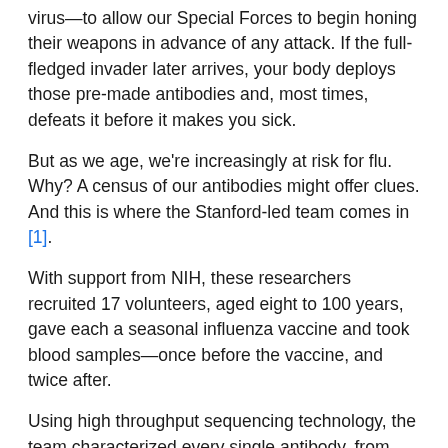virus—to allow our Special Forces to begin honing their weapons in advance of any attack. If the full-fledged invader later arrives, your body deploys those pre-made antibodies and, most times, defeats it before it makes you sick.
But as we age, we're increasingly at risk for flu. Why? A census of our antibodies might offer clues. And this is where the Stanford-led team comes in [1].
With support from NIH, these researchers recruited 17 volunteers, aged eight to 100 years, gave each a seasonal influenza vaccine and took blood samples—once before the vaccine, and twice after.
Using high throughput sequencing technology, the team characterized every single antibody, from each volunteer, at each of the three time points—that's 5 million antibodies! They noted the types of antibodies present (there are five possible types) and the specific number of each type. They then compared individual antibodies of the same type with each other. Such information allows you to figure out whether two antibodies share the same lineage—like a family tree.